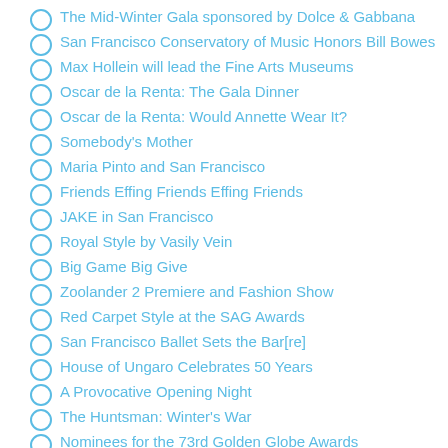The Mid-Winter Gala sponsored by Dolce & Gabbana
San Francisco Conservatory of Music Honors Bill Bowes
Max Hollein will lead the Fine Arts Museums
Oscar de la Renta: The Gala Dinner
Oscar de la Renta: Would Annette Wear It?
Somebody's Mother
Maria Pinto and San Francisco
Friends Effing Friends Effing Friends
JAKE in San Francisco
Royal Style by Vasily Vein
Big Game Big Give
Zoolander 2 Premiere and Fashion Show
Red Carpet Style at the SAG Awards
San Francisco Ballet Sets the Bar[re]
House of Ungaro Celebrates 50 Years
A Provocative Opening Night
The Huntsman: Winter's War
Nominees for the 73rd Golden Globe Awards